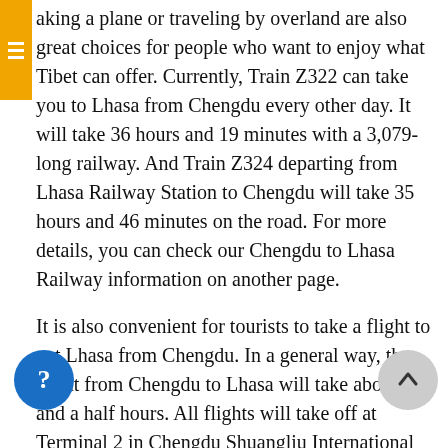aking a plane or traveling by overland are also great choices for people who want to enjoy what Tibet can offer. Currently, Train Z322 can take you to Lhasa from Chengdu every other day. It will take 36 hours and 19 minutes with a 3,079-long railway. And Train Z324 departing from Lhasa Railway Station to Chengdu will take 35 hours and 46 minutes on the road. For more details, you can check our Chengdu to Lhasa Railway information on another page.
It is also convenient for tourists to take a flight to get Lhasa from Chengdu. In a general way, the flight from Chengdu to Lhasa will take about two and a half hours. All flights will take off at Terminal 2 in Chengdu Shuangliu International Airport. You can take metro Line 10 or an airport shuttle bus to get to the airport located 16 kilometers southwest of Chengdu. Or, you can take a taxi to take your flight in downtown Chengdu.
An overland trip from Chengdu to Lhasa is also a popular choice for many tourists since they can have enough time to enjoy the picturesque scenery along the road. But the trip may be tough since you will stay in a car about eight hours a day. You definitely know that G318 National Highway in China is the